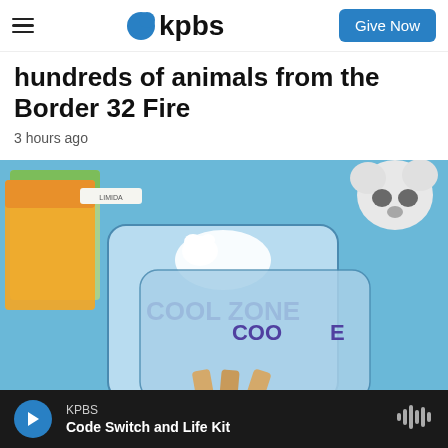kpbs | Give Now
hundreds of animals from the Border 32 Fire
3 hours ago
[Figure (photo): Photo of COOL ZONE hand fans with polar bear graphic on a blue background, with colorful brochures and a stuffed animal visible]
KPBS
Code Switch and Life Kit